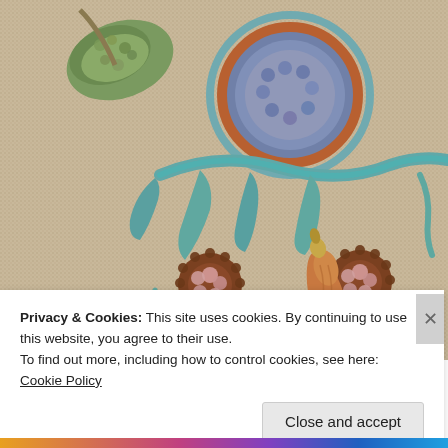[Figure (photo): Close-up photograph of a rug hooking project in progress on burlap backing, showing colorful wool loops in green, blue, teal, rust/orange forming leaf and floral patterns, with a wooden-handled rug hook tool visible in the lower center of the image.]
Privacy & Cookies: This site uses cookies. By continuing to use this website, you agree to their use.
To find out more, including how to control cookies, see here: Cookie Policy
Close and accept